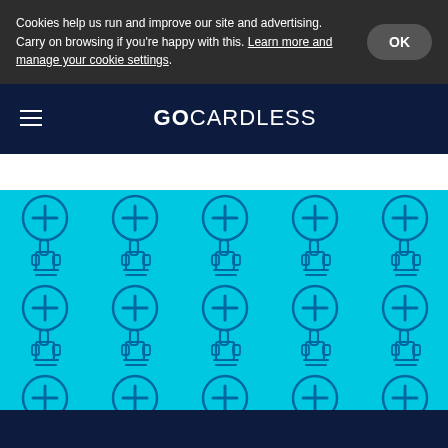Cookies help us run and improve our site and advertising. Carry on browsing if you're happy with this. Learn more and manage your cookie settings.
GOCARDLESS
[Figure (illustration): Repeating pattern of cyan/blue hand-pointing-to-plus-circle icons on a light blue background, arranged in a grid pattern.]